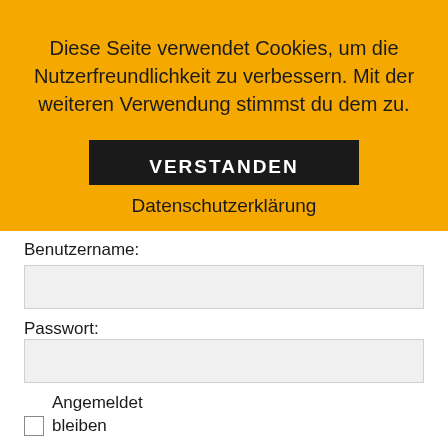Diese Seite verwendet Cookies, um die Nutzerfreundlichkeit zu verbessern. Mit der weiteren Verwendung stimmst du dem zu.
VERSTANDEN
Datenschutzerklärung
Benutzername:
Passwort:
Angemeldet bleiben
ANMELDEN